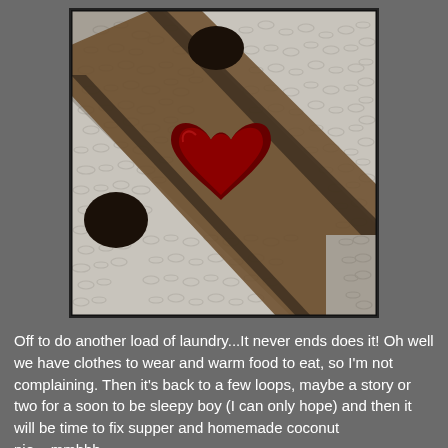[Figure (photo): Close-up photograph of a hooked rug showing a snowman or bird figure with black accents, a dark red/maroon heart or body shape in the center, set against white looped wool texture, with a dark brown diagonal border stripe.]
Off to do another load of laundry...It never ends does it! Oh well we have clothes to wear and warm food to eat, so I'm not complaining. Then it's back to a few loops, maybe a story or two for a soon to be sleepy boy (I can only hope) and then it will be time to fix supper and homemade coconut pie....mmhhh.